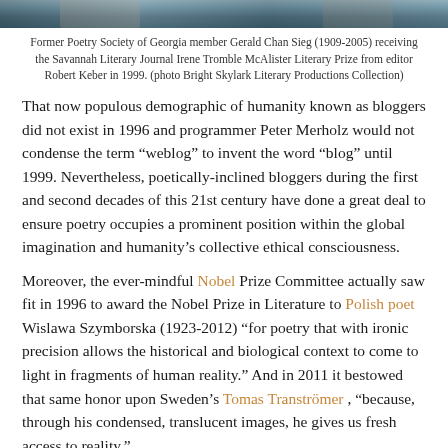[Figure (photo): Top portion of a photograph showing people, cropped at the top of the page]
Former Poetry Society of Georgia member Gerald Chan Sieg (1909-2005) receiving the Savannah Literary Journal Irene Tromble McAlister Literary Prize from editor Robert Keber in 1999. (photo Bright Skylark Literary Productions Collection)
That now populous demographic of humanity known as bloggers did not exist in 1996 and programmer Peter Merholz would not condense the term “weblog” to invent the word “blog” until 1999. Nevertheless, poetically-inclined bloggers during the first and second decades of this 21st century have done a great deal to ensure poetry occupies a prominent position within the global imagination and humanity’s collective ethical consciousness.
Moreover, the ever-mindful Nobel Prize Committee actually saw fit in 1996 to award the Nobel Prize in Literature to Polish poet Wislawa Szymborska (1923-2012) “for poetry that with ironic precision allows the historical and biological context to come to light in fragments of human reality.” And in 2011 it bestowed that same honor upon Sweden’s Tomas Tranströmer , “because, through his condensed, translucent images, he gives us fresh access to reality.”